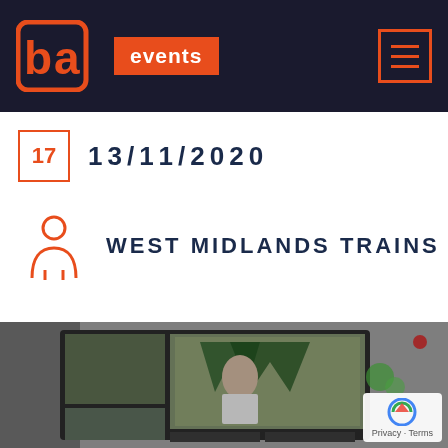ba events — navigation header with logo and hamburger menu
17   13/11/2020
WEST MIDLANDS TRAINS
[Figure (photo): Photo of a video production monitor showing multi-camera feeds including a presenter in front of a West Midlands Trains branded backdrop, with production equipment visible. A reCAPTCHA Privacy · Terms badge is visible in the bottom right corner.]